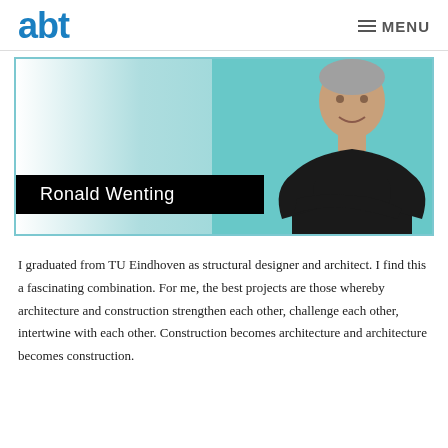abt   MENU
[Figure (photo): Profile photo of Ronald Wenting, a man with grey-streaked hair wearing a black shirt, arms crossed, against a teal background. A black name bar at bottom left reads 'Ronald Wenting'.]
I graduated from TU Eindhoven as structural designer and architect. I find this a fascinating combination. For me, the best projects are those whereby architecture and construction strengthen each other, challenge each other, intertwine with each other. Construction becomes architecture and architecture becomes construction.